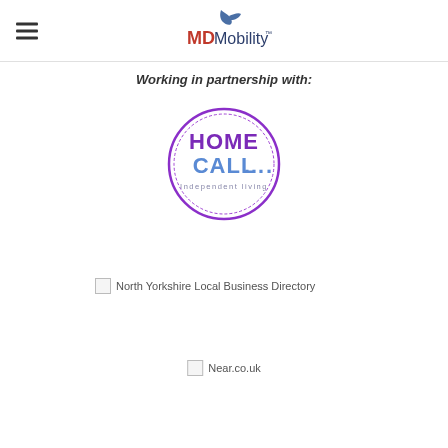MD Mobility logo and navigation
Working in partnership with:
[Figure (logo): Home Call Independent Living logo — circular purple/violet border with HOME CALL written in large bold letters and 'Independent living' below in smaller text]
[Figure (logo): North Yorkshire Local Business Directory logo — broken/unloaded image with alt text 'North Yorkshire Local Business Directory']
[Figure (logo): Near.co.uk logo — broken/unloaded image with alt text 'Near.co.uk']